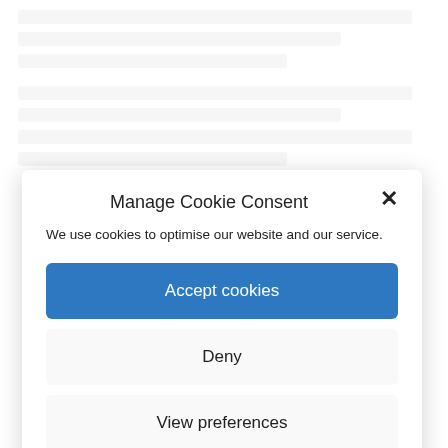[Figure (screenshot): Blurred background page content behind cookie consent modal]
Manage Cookie Consent
We use cookies to optimise our website and our service.
Accept cookies
Deny
View preferences
Cookie Policy  Privacy Policy